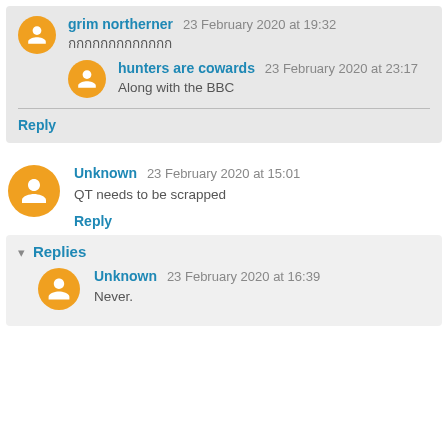grim northerner 23 February 2020 at 19:32 — Thai characters
hunters are cowards 23 February 2020 at 23:17 — Along with the BBC
Reply
Unknown 23 February 2020 at 15:01 — QT needs to be scrapped
Reply
Replies
Unknown 23 February 2020 at 16:39 — Never.